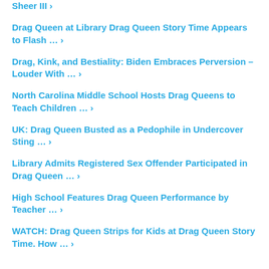Sheer III ›
Drag Queen at Library Drag Queen Story Time Appears to Flash … ›
Drag, Kink, and Bestiality: Biden Embraces Perversion – Louder With … ›
North Carolina Middle School Hosts Drag Queens to Teach Children … ›
UK: Drag Queen Busted as a Pedophile in Undercover Sting … ›
Library Admits Registered Sex Offender Participated in Drag Queen … ›
High School Features Drag Queen Performance by Teacher … ›
WATCH: Drag Queen Strips for Kids at Drag Queen Story Time. How … ›